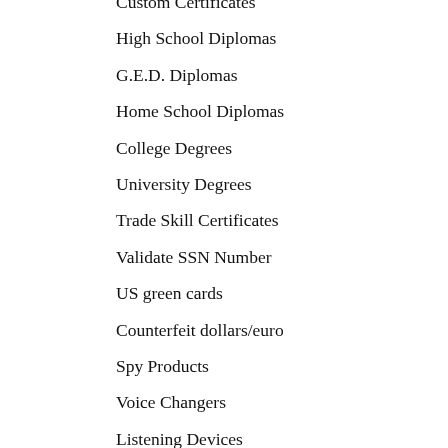Custom Certificates
High School Diplomas
G.E.D. Diplomas
Home School Diplomas
College Degrees
University Degrees
Trade Skill Certificates
Validate SSN Number
US green cards
Counterfeit dollars/euro
Spy Products
Voice Changers
Listening Devices